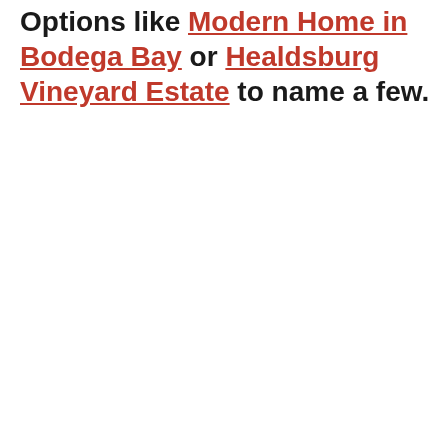Options like Modern Home in Bodega Bay or Healdsburg Vineyard Estate to name a few.